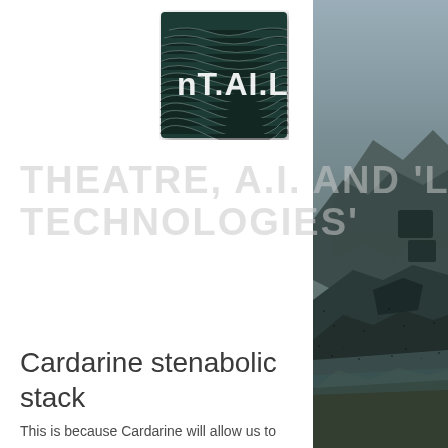[Figure (logo): nT.A.I.L logo - dark teal background with ripple/wave pattern and white text 'nT.A.I.L']
THEATRE, A.I. AND 'LUDIC TECHNOLOGIES'
Cardarine stenabolic stack
This is because Cardarine will allow us to